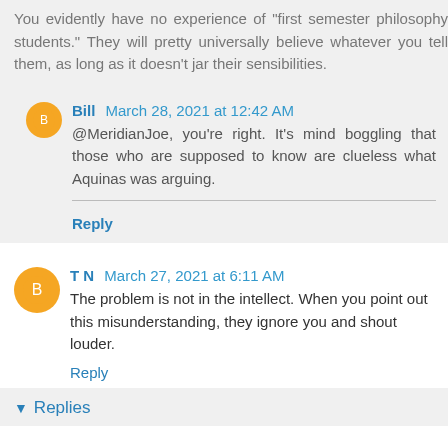You evidently have no experience of "first semester philosophy students." They will pretty universally believe whatever you tell them, as long as it doesn't jar their sensibilities.
Bill March 28, 2021 at 12:42 AM
@MeridianJoe, you're right. It's mind boggling that those who are supposed to know are clueless what Aquinas was arguing.
Reply
T N March 27, 2021 at 6:11 AM
The problem is not in the intellect. When you point out this misunderstanding, they ignore you and shout louder.
Reply
Replies